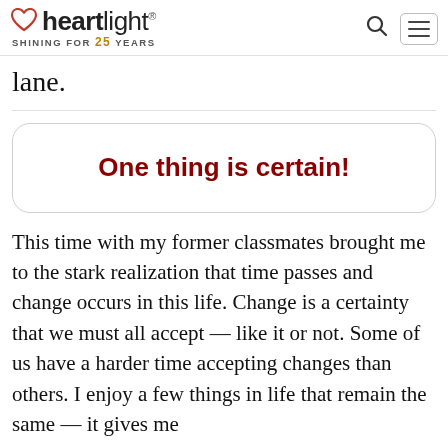heartlight® SHINING FOR 25 YEARS
lane.
One thing is certain!
This time with my former classmates brought me to the stark realization that time passes and change occurs in this life. Change is a certainty that we must all accept — like it or not. Some of us have a harder time accepting changes than others. I enjoy a few things in life that remain the same — it gives me